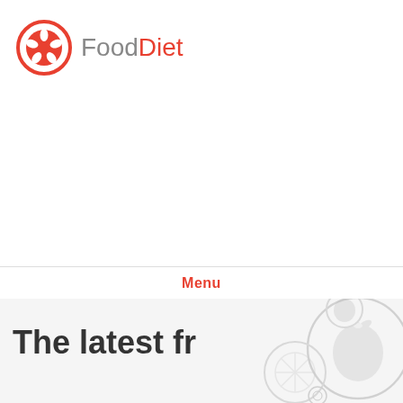[Figure (logo): FoodDiet logo: red circle with white star/flower icon, followed by text 'FoodDiet' with 'Food' in gray and 'Diet' in red]
Menu
The latest fr